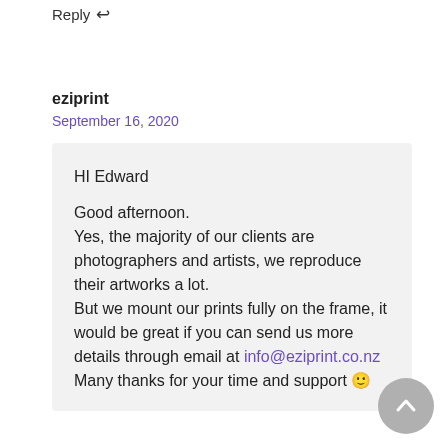Reply ↩
eziprint
September 16, 2020
HI Edward

Good afternoon.
Yes, the majority of our clients are photographers and artists, we reproduce their artworks a lot.
But we mount our prints fully on the frame, it would be great if you can send us more details through email at info@eziprint.co.nz
Many thanks for your time and support 🙂